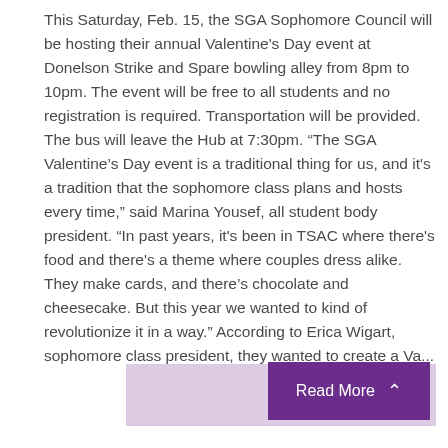This Saturday, Feb. 15, the SGA Sophomore Council will be hosting their annual Valentine's Day event at Donelson Strike and Spare bowling alley from 8pm to 10pm. The event will be free to all students and no registration is required. Transportation will be provided. The bus will leave the Hub at 7:30pm. “The SGA Valentine’s Day event is a traditional thing for us, and it's a tradition that the sophomore class plans and hosts every time,” said Marina Yousef, all student body president. “In past years, it's been in TSAC where there's food and there's a theme where couples dress alike. They make cards, and there’s chocolate and cheesecake. But this year we wanted to kind of revolutionize it in a way.” According to Erica Wigart, sophomore class president, they wanted to create a Va...